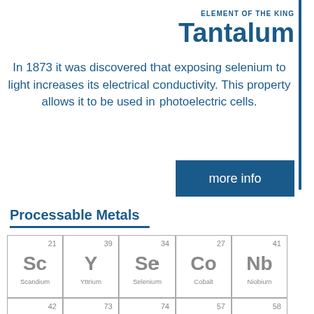ELEMENT OF THE KING
Tantalum
In 1873 it was discovered that exposing selenium to light increases its electrical conductivity. This property allows it to be used in photoelectric cells.
Processable Metals
| Number | Symbol | Name |
| --- | --- | --- |
| 21 | Sc | Scandium |
| 39 | Y | Yttrium |
| 34 | Se | Selenium |
| 27 | Co | Cobalt |
| 41 | Nb | Niobium |
| 42 | Mo |  |
| 73 | Ta |  |
| 74 | W |  |
| 57 | La |  |
| 58 | Ce |  |